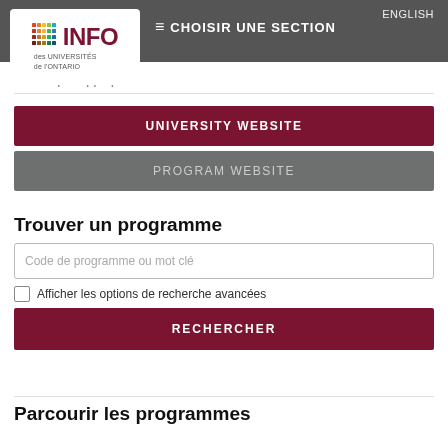ENGLISH | ≡ CHOISIR UNE SECTION
[Figure (logo): INFO des UNIVERSITÉS de l'ONTARIO logo with colorful dot grid]
Statistique Appliquée
UNIVERSITY WEBSITE
PROGRAM WEBSITE
Trouver un programme
Code de programme ou mot clé
Afficher les options de recherche avancées
RECHERCHER
Parcourir les programmes